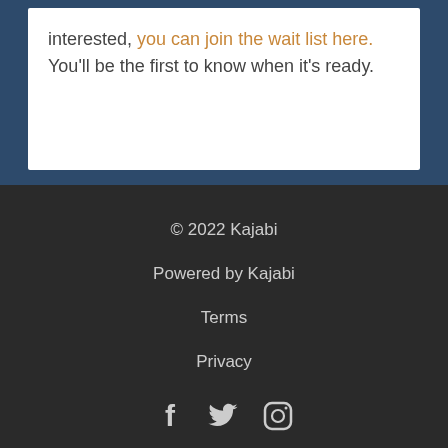interested, you can join the wait list here. You'll be the first to know when it's ready.
© 2022 Kajabi
Powered by Kajabi
Terms
Privacy
[Figure (illustration): Social media icons: Facebook, Twitter, Instagram]